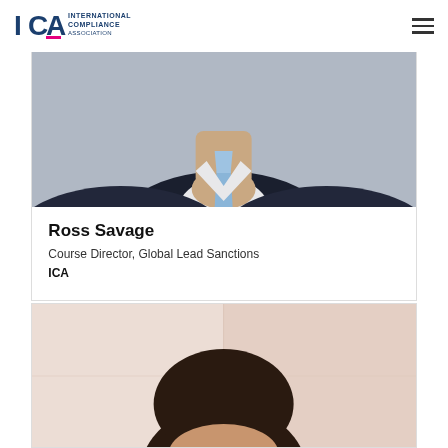[Figure (logo): ICA International Compliance Association logo]
[Figure (photo): Photo of Ross Savage, showing man in dark suit with light blue tie]
Ross Savage
Course Director, Global Lead Sanctions
ICA
[Figure (photo): Photo of another person, showing top of dark-haired man's head against light background]